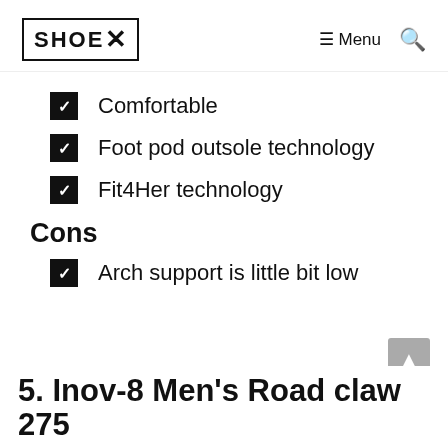SHOE X   ≡ Menu  🔍
Comfortable
Foot pod outsole technology
Fit4Her technology
Cons
Arch support is little bit low
5. Inov-8 Men's Road claw 275